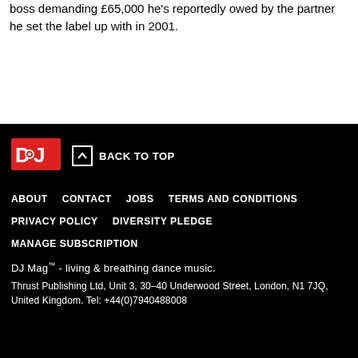boss demanding £65,000 he's reportedly owed by the partner he set the label up with in 2001.
DJ Mag logo | BACK TO TOP | ABOUT | CONTACT | JOBS | TERMS AND CONDITIONS | PRIVACY POLICY | DIVERSITY PLEDGE | MANAGE SUBSCRIPTION | DJ Mag™ - living & breathing dance music. | Thrust Publishing Ltd, Unit 3, 30-40 Underwood Street, London, N1 7JQ, United Kingdom. Tel: +44(0)7940488008